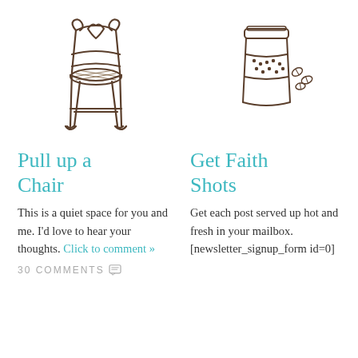[Figure (illustration): Hand-drawn sketch of a decorative iron café chair with a heart-shaped back]
Pull up a Chair
This is a quiet space for you and me. I'd love to hear your thoughts. Click to comment »
30 COMMENTS
[Figure (illustration): Hand-drawn sketch of a to-go coffee cup with a sleeve and coffee beans beside it]
Get Faith Shots
Get each post served up hot and fresh in your mailbox. [newsletter_signup_form id=0]